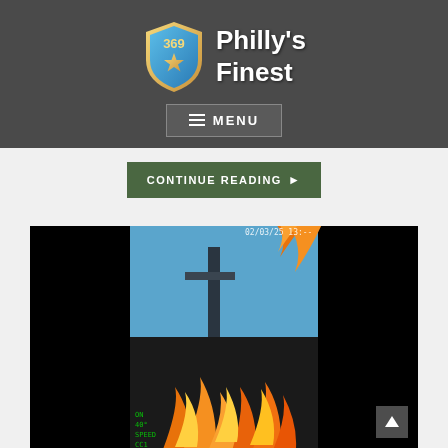[Figure (logo): Philly's Finest website logo with shield badge numbered 369 and a star, with white bold text 'Philly's Finest']
≡ MENU
CONTINUE READING ▶
[Figure (photo): Video frame showing a fire scene with flames visible and what appears to be structural elements against a blue sky, captured from a body camera or similar device with timestamp overlay]